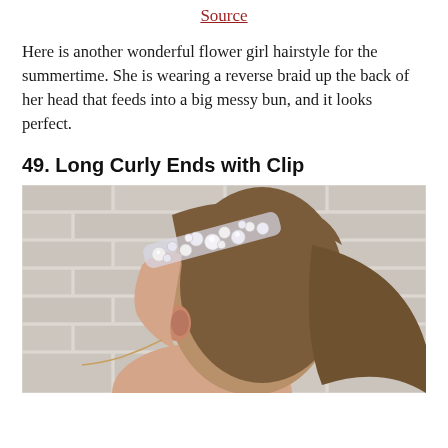Source
Here is another wonderful flower girl hairstyle for the summertime. She is wearing a reverse braid up the back of her head that feeds into a big messy bun, and it looks perfect.
49. Long Curly Ends with Clip
[Figure (photo): Side profile of a girl with straight brown hair pulled back, wearing a decorative jeweled/pearl hair clip, standing in front of a white brick wall.]